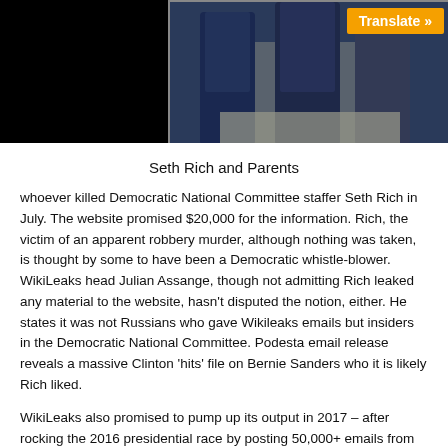[Figure (photo): Partial photograph showing figures standing, cropped at top, with orange Translate button overlay in upper right corner]
Seth Rich and Parents
whoever killed Democratic National Committee staffer Seth Rich in July. The website promised $20,000 for the information. Rich, the victim of an apparent robbery murder, although nothing was taken, is thought by some to have been a Democratic whistle-blower. WikiLeaks head Julian Assange, though not admitting Rich leaked any material to the website, hasn't disputed the notion, either. He states it was not Russians who gave Wikileaks emails but insiders in the Democratic National Committee. Podesta email release reveals a massive Clinton 'hits' file on Bernie Sanders who it is likely Rich liked.
WikiLeaks also promised to pump up its output in 2017 – after rocking the 2016 presidential race by posting 50,000+ emails from Hillary Clinton campaign chairman John Podesta. The messages